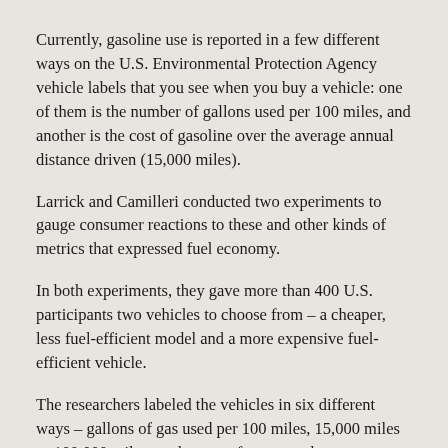Currently, gasoline use is reported in a few different ways on the U.S. Environmental Protection Agency vehicle labels that you see when you buy a vehicle: one of them is the number of gallons used per 100 miles, and another is the cost of gasoline over the average annual distance driven (15,000 miles).
Larrick and Camilleri conducted two experiments to gauge consumer reactions to these and other kinds of metrics that expressed fuel economy.
In both experiments, they gave more than 400 U.S. participants two vehicles to choose from – a cheaper, less fuel-efficient model and a more expensive fuel-efficient vehicle.
The researchers labeled the vehicles in six different ways – gallons of gas used per 100 miles, 15,000 miles or 100,000 miles, or the cost of gas over the same distances.
In the first experiment, the higher cost of the fuel-efficient vehicle was offset by the gasoline cost savings. In this